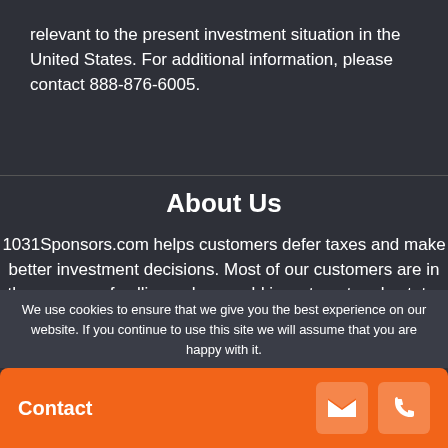relevant to the present investment situation in the United States. For additional information, please contact 888-876-6005.
About Us
1031Sponsors.com helps customers defer taxes and make better investment decisions. Most of our customers are in the process of selling or have sold investment real estate.
We use cookies to ensure that we give you the best experience on our website. If you continue to use this site we will assume that you are happy with it.
Contact